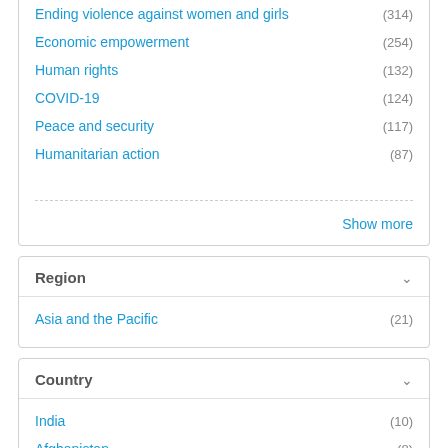Ending violence against women and girls (314)
Economic empowerment (254)
Human rights (132)
COVID-19 (124)
Peace and security (117)
Humanitarian action (87)
Show more
Region
Asia and the Pacific (21)
Country
India (10)
Afghanistan (8)